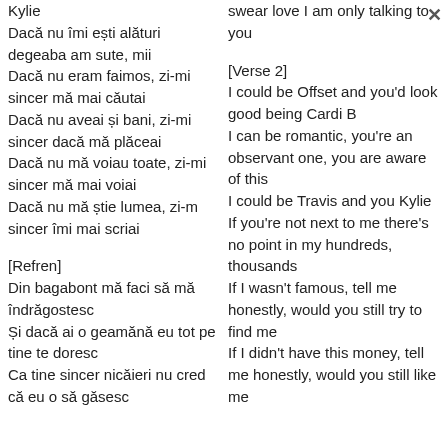Kylie
Dacă nu îmi ești alături degeaba am sute, mii
Dacă nu eram faimos, zi-mi sincer mă mai căutai
Dacă nu aveai și bani, zi-mi sincer dacă mă plăceai
Dacă nu mă voiau toate, zi-mi sincer mă mai voiai
Dacă nu mă știe lumea, zi-m sincer îmi mai scriai
[Refren]
Din bagabont mă faci să mă îndrăgostesc
Și dacă ai o geamănă eu tot pe tine te doresc
Ca tine sincer nicăieri nu cred că eu o să găsesc
swear love I am only talking to you
[Verse 2]
I could be Offset and you'd look good being Cardi B
I can be romantic, you're an observant one, you are aware of this
I could be Travis and you Kylie
If you're not next to me there's no point in my hundreds, thousands
If I wasn't famous, tell me honestly, would you still try to find me
If I didn't have this money, tell me honestly, would you still like me